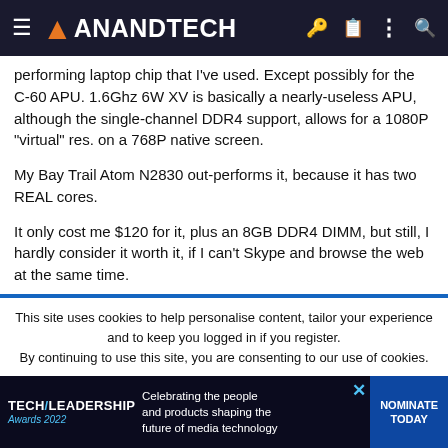AnandTech
performing laptop chip that I've used. Except possibly for the C-60 APU. 1.6Ghz 6W XV is basically a nearly-useless APU, although the single-channel DDR4 support, allows for a 1080P "virtual" res. on a 768P native screen.
My Bay Trail Atom N2830 out-performs it, because it has two REAL cores.
It only cost me $120 for it, plus an 8GB DDR4 DIMM, but still, I hardly consider it worth it, if I can't Skype and browse the web at the same time.
Something that my Ryzen 3 3200U 2C/4T 2.6Ghz base, does with aplomb.
This site uses cookies to help personalise content, tailor your experience and to keep you logged in if you register.
By continuing to use this site, you are consenting to our use of cookies.
[Figure (other): TechLeadership Awards 2022 advertisement banner: Celebrating the people and products shaping the future of media technology. NOMINATE TODAY button.]